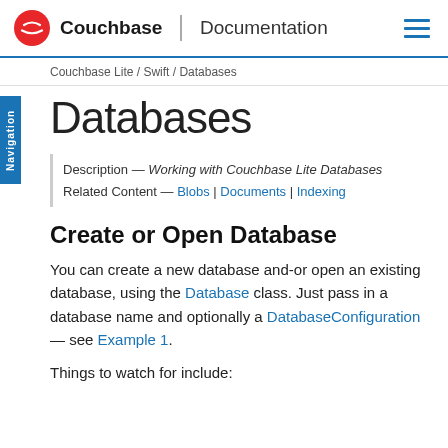Couchbase | Documentation
Couchbase Lite / Swift / Databases
Databases
Description — Working with Couchbase Lite Databases
Related Content — Blobs | Documents | Indexing
Create or Open Database
You can create a new database and-or open an existing database, using the Database class. Just pass in a database name and optionally a DatabaseConfiguration — see Example 1.
Things to watch for include: